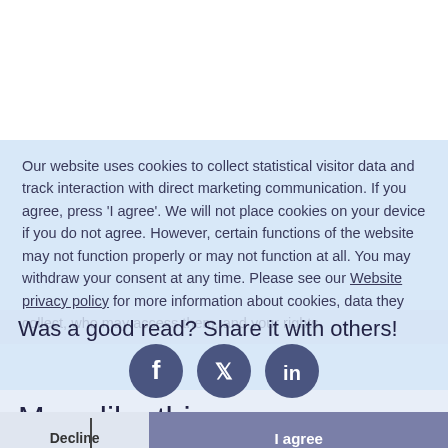Our website uses cookies to collect statistical visitor data and track interaction with direct marketing communication. If you agree, press 'I agree'. We will not place cookies on your device if you do not agree. However, certain functions of the website may not function properly or may not function at all. You may withdraw your consent at any time. Please see our Website privacy policy for more information about cookies, data they collect, who may access them, and your rights.
Was a good read? Share it with others!
[Figure (infographic): Three social media icons: Facebook, Twitter, LinkedIn in dark blue circles]
More like this
Decline
I agree